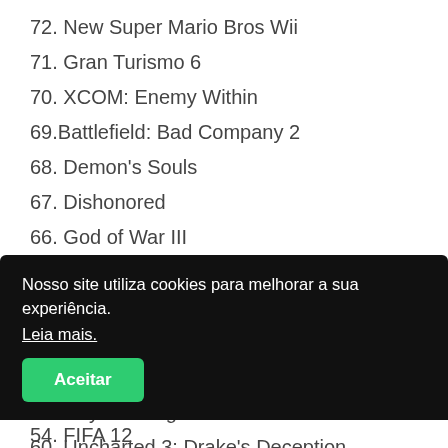72. New Super Mario Bros Wii
71. Gran Turismo 6
70. XCOM: Enemy Within
69.Battlefield: Bad Company 2
68. Demon's Souls
67. Dishonored
66. God of War III
65. Catherine
64. Flower
63. Rainbow Six Vegas
62. Shadow Complex
61. Rayman Legends
60. Uncharted 3: Drake's Deception
Nosso site utiliza cookies para melhorar a sua experiência.
Leia mais.
[Aceitar]
54. FIFA 12